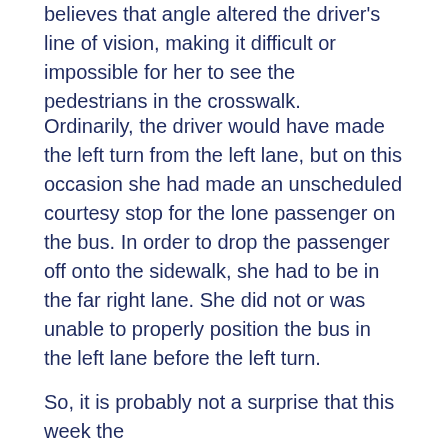believes that angle altered the driver's line of vision, making it difficult or impossible for her to see the pedestrians in the crosswalk.
Ordinarily, the driver would have made the left turn from the left lane, but on this occasion she had made an unscheduled courtesy stop for the lone passenger on the bus. In order to drop the passenger off onto the sidewalk, she had to be in the far right lane. She did not or was unable to properly position the bus in the left lane before the left turn.
So, it is probably not a surprise that this week the transit...